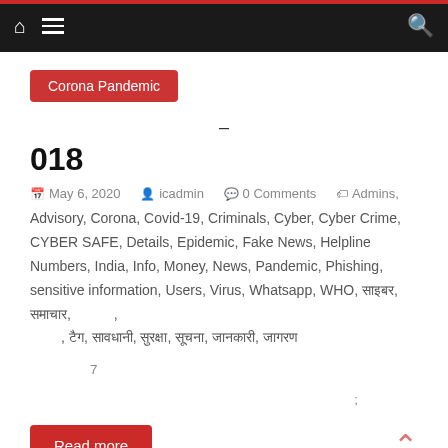Navigation bar with home icon, hamburger menu, and search icon
Corona Pandemic
–
018
May 6, 2020  icadmin  0 Comments  Admins, Advisory, Corona, Covid-19, Criminals, Cyber, Cyber Crime, CYBER SAFE, Details, Epidemic, Fake News, Helpline Numbers, India, Info, Money, News, Pandemic, Phishing, sensitive information, Users, Virus, Whatsapp, WHO, साइबर, समाचार, , टैग, सावधानी, सुरक्षा, सूचना, जानकारी
7
;
Read more